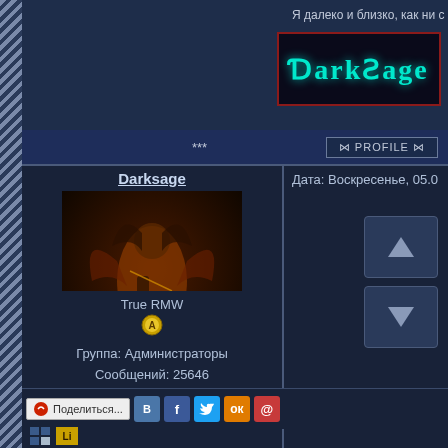[Figure (logo): DarkSage forum logo with gothic green text on dark background with red border]
Я далеко и близко, как ни с
***
PROFILE
Darksage
Дата: Воскресенье, 05.0
[Figure (photo): Dark fantasy artwork of an angel/demon figure playing violin surrounded by fire and flames]
True RMW
Группа: Администраторы
Сообщений: 25646
Репутация: 87
Статус: Offline
Поделиться...
В  f  Twitter  Одноклассники  @